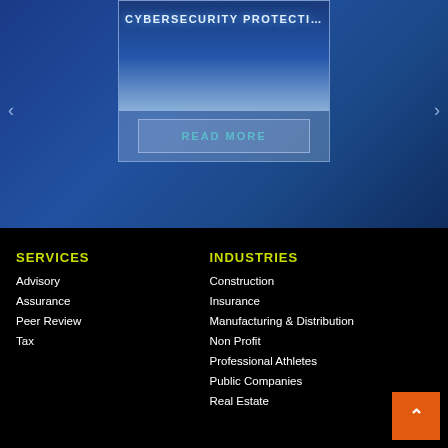[Figure (screenshot): Website screenshot showing a blue-toned cybersecurity article card with title 'CYBERSECURITY PROTECTI...' and a READ MORE button, on a dark blue background with navigation arrows]
SERVICES
Advisory
Assurance
Peer Review
Tax
INDUSTRIES
Construction
Insurance
Manufacturing & Distribution
Non Profit
Professional Athletes
Public Companies
Real Estate